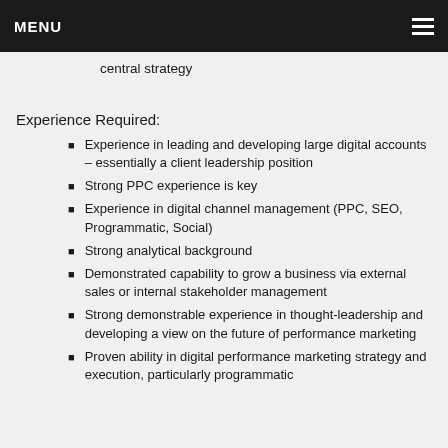MENU
central strategy
Experience Required:
Experience in leading and developing large digital accounts – essentially a client leadership position
Strong PPC experience is key
Experience in digital channel management (PPC, SEO, Programmatic, Social)
Strong analytical background
Demonstrated capability to grow a business via external sales or internal stakeholder management
Strong demonstrable experience in thought-leadership and developing a view on the future of performance marketing
Proven ability in digital performance marketing strategy and execution, particularly programmatic